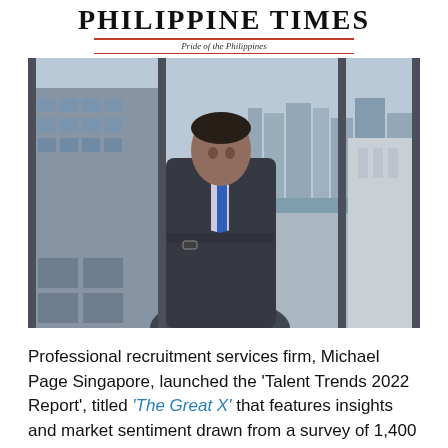PHILIPPINE TIMES — Pride of the Philippines
[Figure (photo): A man in a dark suit with arms crossed standing in front of a large window with a city skyline view including buildings and a river]
Professional recruitment services firm, Michael Page Singapore, launched the 'Talent Trends 2022 Report', titled 'The Great X' that features insights and market sentiment drawn from a survey of 1,400